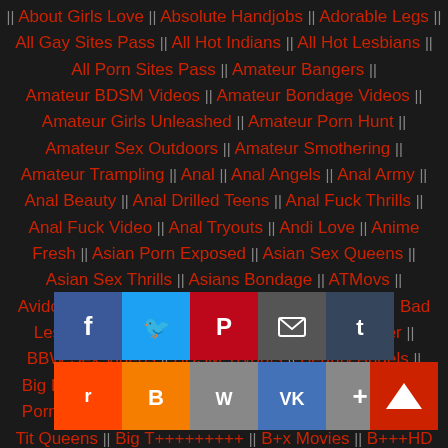|| About Girls Love || Absolute Handjobs || Adorable Legs || All Gay Sites Pass || All Hot Indians || All Hot Lesbians || All Porn Sites Pass || Amateur Bangers || Amateur BDSM Videos || Amateur Bondage Videos || Amateur Girls Unleashed || Amateur Porn Hunt || Amateur Sex Outdoors || Amateur Smothering || Amateur Trampling || Anal || Anal Angels || Anal Army || Anal Beauty || Anal Drilled Teens || Anal Fuck Thrills || Anal Fuck Video || Anal Tryouts || Andi Love || Anime Fresh || Asian Porn Exposed || Asian Sex Queens || Asian Sex Thrills || Asians Bondage || ATMovs || AvidolZ || Backdoor Pumpers || Bad Black Babes || Bad Lesbian Girls || Bare Foot Fuckers || BBW Hunter || BBW Sex Videos || BDSM Tryouts || Beauty Angels || Big Breasts Sex || Big Cock Loving Teens || Big Cocks Porn || Big Cocks Gay || Big Munchos Big Cocks || Big Tit Queens || Big Tit Queen Nextdoor || B*x Movies || B***HD || || Bisexuals || [social share bar overlay] || Black Gays Hardcore || Blowjobs || Blowjobs Babes || Bound 4 You
[Figure (infographic): Social sharing button bar with two rows: Row 1: Facebook (blue), Twitter (light blue), Pinterest (red), Email (gray), Tumblr (dark blue). Row 2: Reddit (orange), Blogger (orange), WordPress (gray), VK (blue), Plus/More (gray). Scroll-to-top red button with up arrow on the right.]